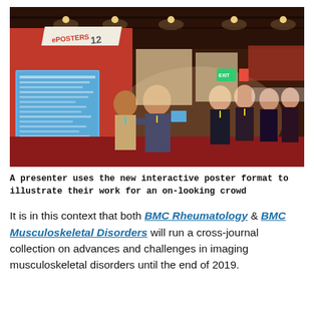[Figure (photo): Conference floor photo showing a presenter using an interactive ePOSTERS display (numbered 12) on a red kiosk, with an on-looking crowd of attendees in a large exhibition hall.]
A presenter uses the new interactive poster format to illustrate their work for an on-looking crowd
It is in this context that both BMC Rheumatology & BMC Musculoskeletal Disorders will run a cross-journal collection on advances and challenges in imaging musculoskeletal disorders until the end of 2019.